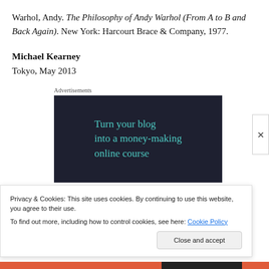Warhol, Andy. The Philosophy of Andy Warhol (From A to B and Back Again). New York: Harcourt Brace & Company, 1977.
Michael Kearney
Tokyo, May 2013
[Figure (other): Advertisement banner with dark background and teal text reading 'Turn your blog into a money-making online course']
Privacy & Cookies: This site uses cookies. By continuing to use this website, you agree to their use.
To find out more, including how to control cookies, see here: Cookie Policy